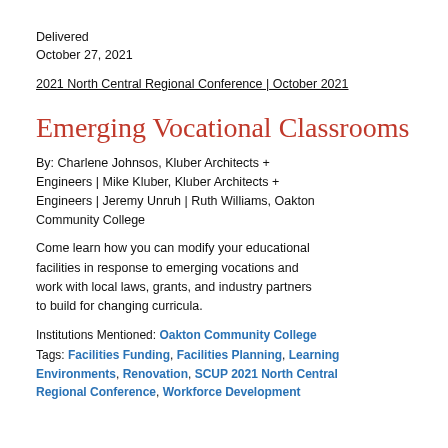Delivered
October 27, 2021
2021 North Central Regional Conference | October 2021
Emerging Vocational Classrooms
By: Charlene Johnsos, Kluber Architects + Engineers | Mike Kluber, Kluber Architects + Engineers | Jeremy Unruh | Ruth Williams, Oakton Community College
Come learn how you can modify your educational facilities in response to emerging vocations and work with local laws, grants, and industry partners to build for changing curricula.
Institutions Mentioned: Oakton Community College
Tags: Facilities Funding, Facilities Planning, Learning Environments, Renovation, SCUP 2021 North Central Regional Conference, Workforce Development